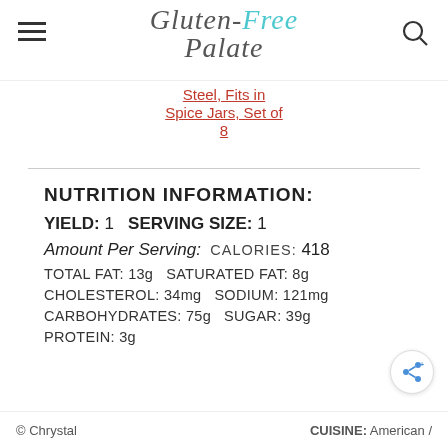Gluten-Free Palate
Steel, Fits in Spice Jars, Set of 8
NUTRITION INFORMATION:
YIELD: 1  SERVING SIZE: 1
Amount Per Serving:  CALORIES: 418
TOTAL FAT: 13g SATURATED FAT: 8g
CHOLESTEROL: 34mg SODIUM: 121mg
CARBOHYDRATES: 75g SUGAR: 39g
PROTEIN: 3g
© Chrystal    CUISINE: American /